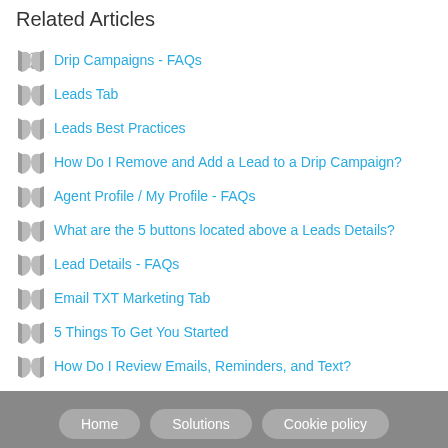Related Articles
Drip Campaigns - FAQs
Leads Tab
Leads Best Practices
How Do I Remove and Add a Lead to a Drip Campaign?
Agent Profile / My Profile - FAQs
What are the 5 buttons located above a Leads Details?
Lead Details - FAQs
Email TXT Marketing Tab
5 Things To Get You Started
How Do I Review Emails, Reminders, and Text?
Home   Solutions   Cookie policy
Help Desk Software by Freshdesk Support Desk